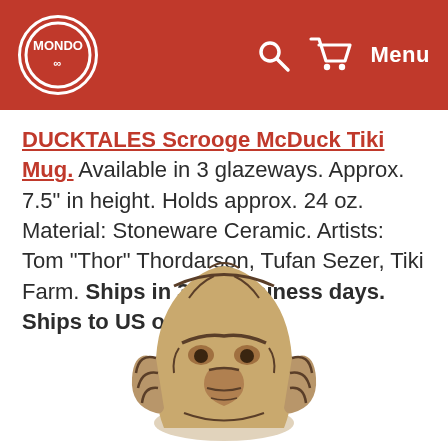Mondo — Search, Cart, Menu
DUCKTALES Scrooge McDuck Tiki Mug. Available in 3 glazeways. Approx. 7.5" in height. Holds approx. 24 oz. Material: Stoneware Ceramic. Artists: Tom "Thor" Thordarson, Tufan Sezer, Tiki Farm. Ships in 3 - 5 business days. Ships to US only. $40.
[Figure (photo): Ceramic tiki mug shaped like Scrooge McDuck's face, in a tan/brown glaze with dark brown details, viewed from the front.]